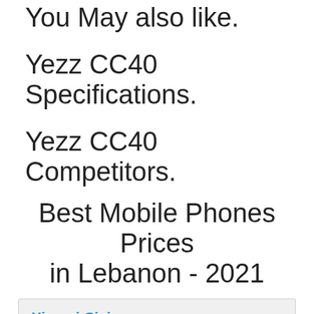You May also like.
Yezz CC40 Specifications.
Yezz CC40 Competitors.
Best Mobile Phones Prices in Lebanon - 2021
Xiaomi Civi
6.55" Display, 64 MP Camera,
12 GB RAM & 4500 mAh Battery.
View Price
Xiaomi Watch Color 2